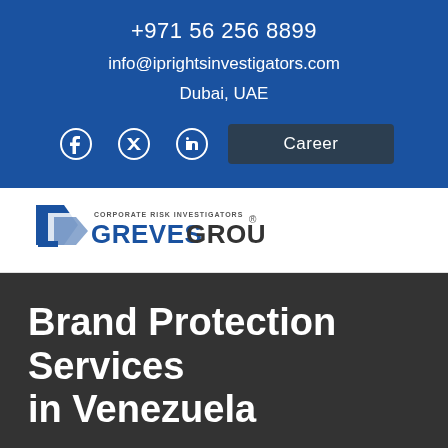+971 56 256 8899
info@iprightsinvestigators.com
Dubai, UAE
[Figure (logo): Facebook, Twitter, LinkedIn social icons and Career button]
[Figure (logo): Greves Group - Corporate Risk Investigators logo with blue arrow/flag icon and text GREVESGROUP with registered trademark symbol]
Brand Protection Services in Venezuela